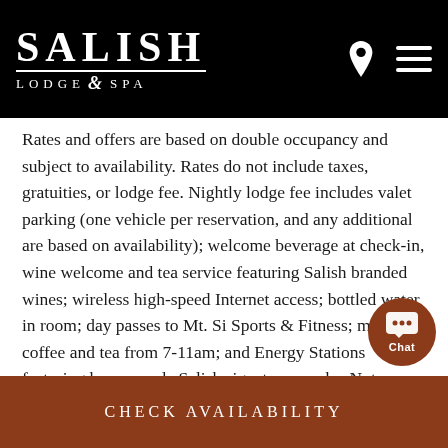Salish Lodge & Spa
Rates and offers are based on double occupancy and subject to availability. Rates do not include taxes, gratuities, or lodge fee. Nightly lodge fee includes valet parking (one vehicle per reservation, and any additional are based on availability); welcome beverage at check-in, wine welcome and tea service featuring Salish branded wines; wireless high-speed Internet access; bottled water in room; day passes to Mt. Si Sports & Fitness; morning coffee and tea from 7-11am; and Energy Stations featuring house-made Salish signature snacks. Note: Special offers cannot be combined with any other offers, discounts, or promotions.
CHECK AVAILABILITY